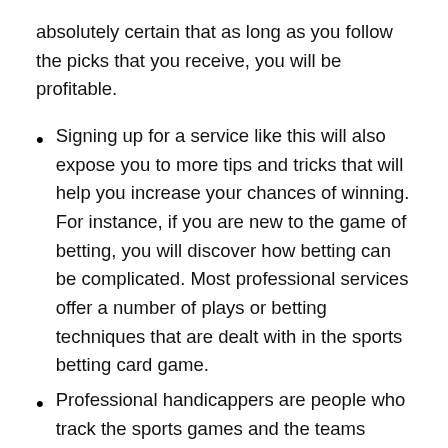absolutely certain that as long as you follow the picks that you receive, you will be profitable.
Signing up for a service like this will also expose you to more tips and tricks that will help you increase your chances of winning. For instance, if you are new to the game of betting, you will discover how betting can be complicated. Most professional services offer a number of plays or betting techniques that are dealt with in the sports betting card game.
Professional handicappers are people who track the sports games and the teams playing and then provide accurate betting information day after day and month after month. All you have to do is to place your bets on the team that you feel is the most likely